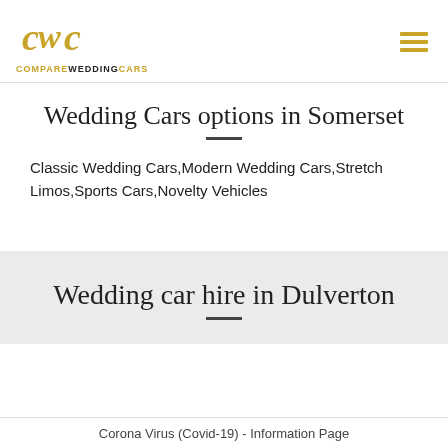COMPARE WEDDING CARS
Wedding Cars options in Somerset
Classic Wedding Cars,Modern Wedding Cars,Stretch Limos,Sports Cars,Novelty Vehicles
Wedding car hire in Dulverton
Corona Virus (Covid-19) - Information Page